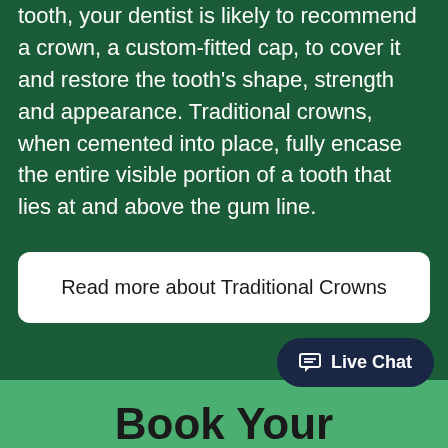tooth, your dentist is likely to recommend a crown, a custom-fitted cap, to cover it and restore the tooth's shape, strength and appearance. Traditional crowns, when cemented into place, fully encase the entire visible portion of a tooth that lies at and above the gum line.
Read more about Traditional Crowns
Live Chat
Book Your Appointment